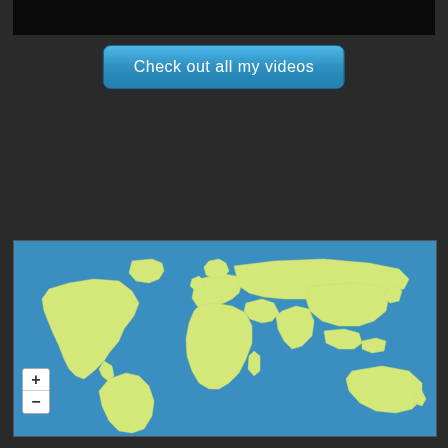[Figure (screenshot): Black video thumbnail bar at top]
Check out all my videos
[Figure (map): World map showing 74,266 Pageviews from Jul. 29th - Aug. 29th, with yellow-green landmasses on a blue ocean background, and zoom +/- controls in bottom left]